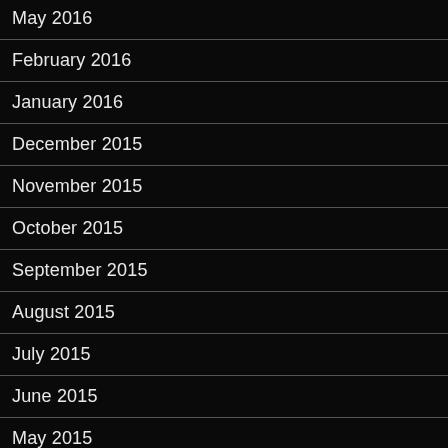May 2016
February 2016
January 2016
December 2015
November 2015
October 2015
September 2015
August 2015
July 2015
June 2015
May 2015
April 2015
March 2015